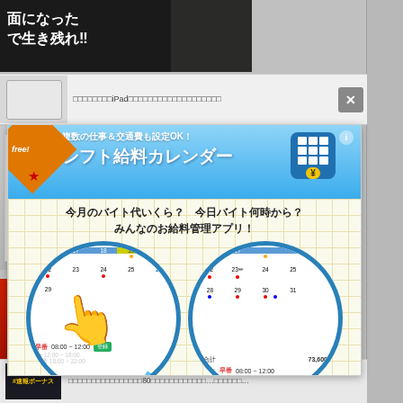[Figure (screenshot): Top dark banner with Japanese text]
[Figure (screenshot): iPad advertisement banner strip with close button and Japanese text]
[Figure (screenshot): Main app advertisement popup - シフト給料カレンダー (Shift Salary Calendar) app promotion with blue header, calendar screenshots in circles, Japanese text describing features: 複数シフトも簡単登録！(Easy registration of multiple shifts!) and 給与計算も自動で楽ちん！(Automatic salary calculation is easy!)]
[Figure (screenshot): Bottom feed item with game/manga thumbnail and Japanese text about 80]